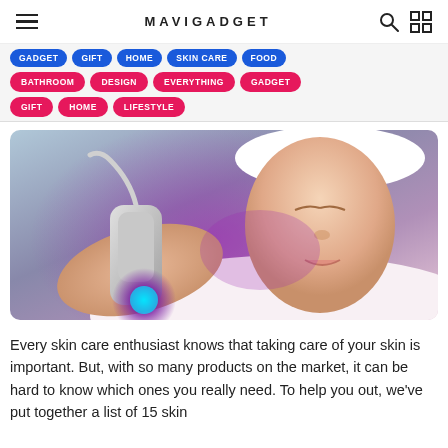MAVIGADGET
BATHROOM
DESIGN
EVERYTHING
GADGET
GIFT
HOME
LIFESTYLE
[Figure (photo): Woman lying down with eyes closed wearing a white hair towel, receiving a skin care treatment with a blue light device being held near her face, purple light glow visible]
Every skin care enthusiast knows that taking care of your skin is important. But, with so many products on the market, it can be hard to know which ones you really need. To help you out, we've put together a list of 15 skin